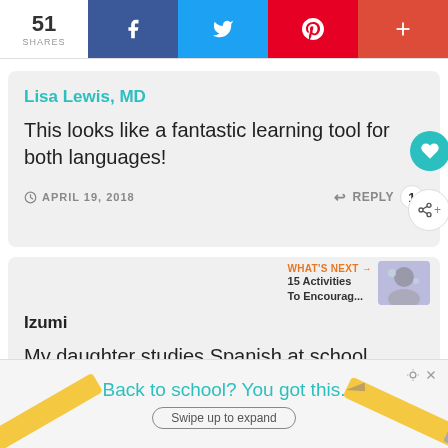[Figure (screenshot): Social share bar with 51 shares count, Facebook, Twitter, Pinterest, and plus buttons]
Lisa Lewis, MD
This looks like a fantastic learning tool for both languages!
APRIL 19, 2018
REPLY
Izumi
My daughter studies Spanish at school
WHAT'S NEXT → 15 Activities To Encourag...
Back to school? You got this.
Swipe up to expand